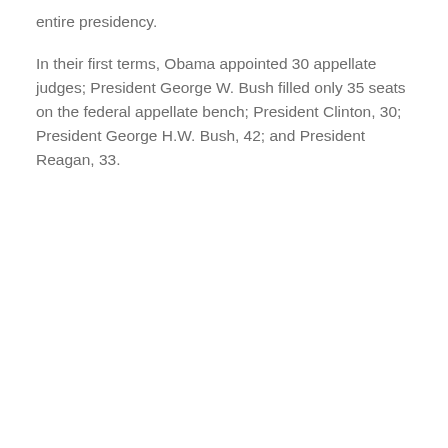entire presidency.
In their first terms, Obama appointed 30 appellate judges; President George W. Bush filled only 35 seats on the federal appellate bench; President Clinton, 30; President George H.W. Bush, 42; and President Reagan, 33.